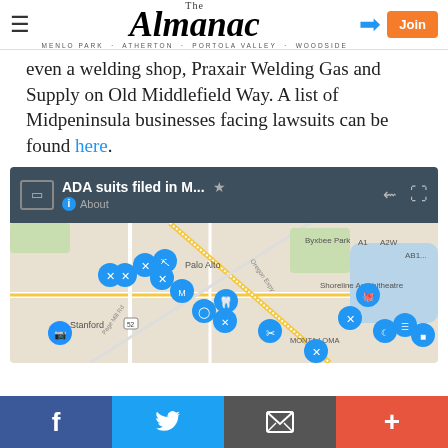The Almanac — MENLO PARK · ATHERTON · PORTOLA VALLEY · WOODSIDE
even a welding shop, Praxair Welding Gas and Supply on Old Middlefield Way. A list of Midpeninsula businesses facing lawsuits can be found here.
[Figure (map): Google Map screenshot titled 'ADA suits filed in M...' showing pins of ADA suit locations around Palo Alto, Stanford, Shoreline Amphitheatre, and Monta Loma areas.]
Social sharing bar: Facebook, Twitter, Email, More